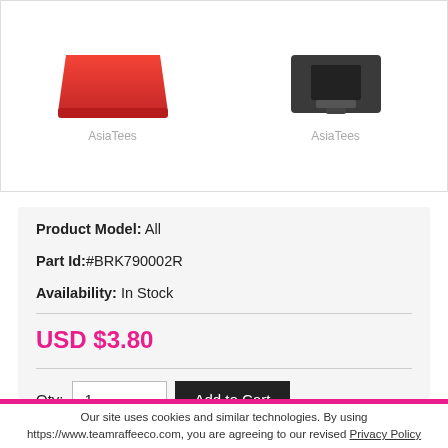[Figure (photo): Two product images side by side. Left: a red item (tray/stand shape) with AsiaTees watermark. Right: a dark/black electronic device with AsiaTees watermark.]
Product Model: All
Part Id:#BRK790002R
Availability: In Stock
USD $3.80
Qty: 1  Add to Cart
Our site uses cookies and similar technologies. By using https://www.teamraffeeco.com, you are agreeing to our revised Privacy Policy
I AGREE